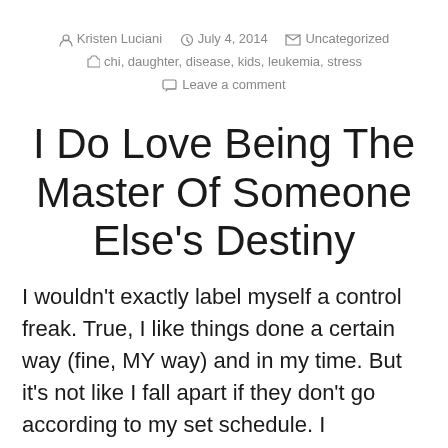Kristen Luciani  July 4, 2014  Uncategorized  chi, daughter, disease, kids, leukemia, stress  Leave a comment
I Do Love Being The Master Of Someone Else’s Destiny
I wouldn’t exactly label myself a control freak.  True, I like things done a certain way (fine, MY way) and in my time.  But it’s not like I fall apart if they don’t go according to my set schedule.  I